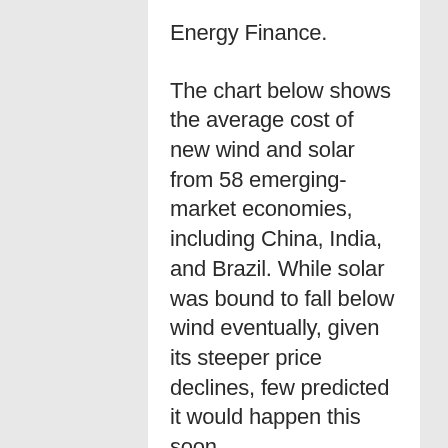Energy Finance.
The chart below shows the average cost of new wind and solar from 58 emerging-market economies, including China, India, and Brazil. While solar was bound to fall below wind eventually, given its steeper price declines, few predicted it would happen this soon.
“Solar investment has gone from nothing–literally nothing